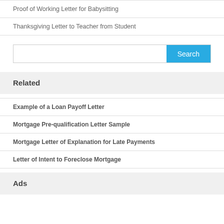Proof of Working Letter for Babysitting
Thanksgiving Letter to Teacher from Student
[Figure (other): Search input box with blue Search button]
Related
Example of a Loan Payoff Letter
Mortgage Pre-qualification Letter Sample
Mortgage Letter of Explanation for Late Payments
Letter of Intent to Foreclose Mortgage
Ads